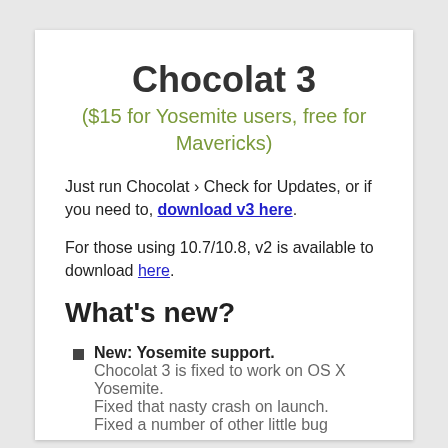Chocolat 3
($15 for Yosemite users, free for Mavericks)
Just run Chocolat › Check for Updates, or if you need to, download v3 here.
For those using 10.7/10.8, v2 is available to download here.
What's new?
New: Yosemite support. Chocolat 3 is fixed to work on OS X Yosemite. Fixed that nasty crash on launch. Fixed a number of other little bugs.